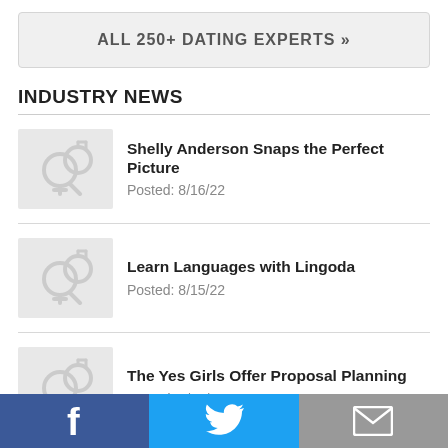ALL 250+ DATING EXPERTS »
INDUSTRY NEWS
Shelly Anderson Snaps the Perfect Picture
Posted: 8/16/22
Learn Languages with Lingoda
Posted: 8/15/22
The Yes Girls Offer Proposal Planning
Posted: 8/11/22
FaceTec Adds Trust in Matches with Bot Detection